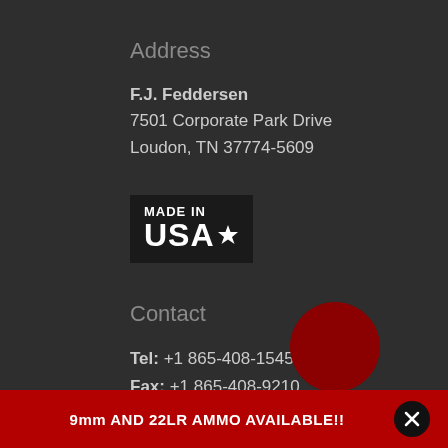Address
F.J. Feddersen
7501 Corporate Park Drive
Loudon, TN 37774-5609
[Figure (logo): Made in USA logo with bold white text on dark background and a star replacing the A in USA]
Contact
Tel: +1 865-408-1545
Fax: +1 865-408-9210
Email Us
9mm AND 22LR AMMO AVAILABLE!!